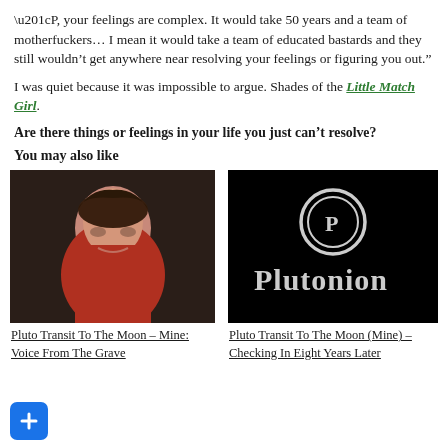“P, your feelings are complex. It would take 50 years and a team of motherfuckers… I mean it would take a team of educated bastards and they still wouldn’t get anywhere near resolving your feelings or figuring you out.”
I was quiet because it was impossible to argue. Shades of the Little Match Girl.
Are there things or feelings in your life you just can’t resolve?
You may also like
[Figure (photo): Photo of a woman with dark hair wearing a red top, smiling, dark background]
Pluto Transit To The Moon – Mine: Voice From The Grave
[Figure (logo): Black background with Plutonion logo: circle with P inside, text Plutonion below]
Pluto Transit To The Moon (Mine) – Checking In Eight Years Later